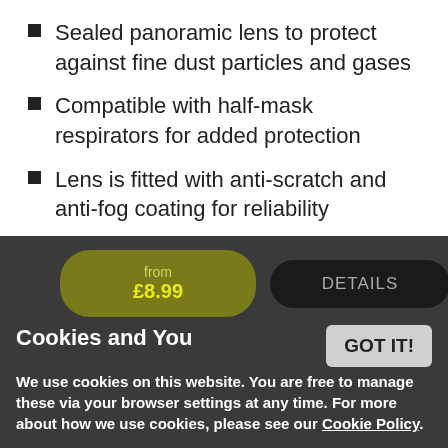Sealed panoramic lens to protect against fine dust particles and gases
Compatible with half-mask respirators for added protection
Lens is fitted with anti-scratch and anti-fog coating for reliability
Protection from a wide range of risks, such as chemical and mechanical risks
In stock now
from £8.99
DETAILS
Cookies and You
We use cookies on this website. You are free to manage these via your browser settings at any time. For more about how we use cookies, please see our Cookie Policy.
GOT IT!